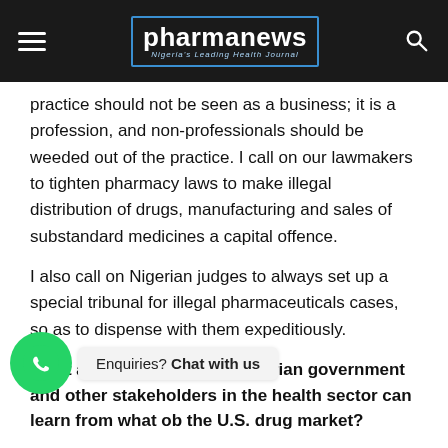pharmanews — Nigeria's Leading Health Journal
practice should not be seen as a business; it is a profession, and non-professionals should be weeded out of the practice. I call on our lawmakers to tighten pharmacy laws to make illegal distribution of drugs, manufacturing and sales of substandard medicines a capital offence.
I also call on Nigerian judges to always set up a special tribunal for illegal pharmaceuticals cases, so as to dispense with them expeditiously.
What are the lessons the Nigerian government and other stakeholders in the health sector can learn from what ob... the U.S. drug market?
The U.S. drug market is a multi-billion dollar industry that is